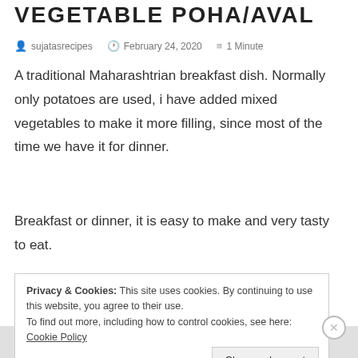VEGETABLE POHA/AVAL
sujatasrecipes   February 24, 2020   1 Minute
A traditional Maharashtrian breakfast dish. Normally only potatoes are used, i have added mixed vegetables to make it more filling, since most of the time we have it for dinner.
Breakfast or dinner, it is easy to make and very tasty to eat.
Privacy & Cookies: This site uses cookies. By continuing to use this website, you agree to their use.
To find out more, including how to control cookies, see here: Cookie Policy
[Close and accept]